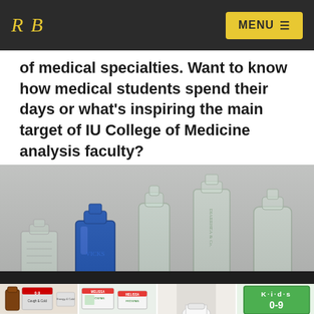RB | MENU
of medical specialties. Want to know how medical students spend their days or what's inspiring the main target of IU College of Medicine analysis faculty?
[Figure (photo): Five antique glass medicine bottles of various shapes and sizes lined up on a surface. One blue cobalt bottle in the left-center, others clear glass with embossed lettering including 'DIARRHEA & Co.' on a tall bottle.]
[Figure (photo): Bottom strip showing partial images of modern medicine product boxes and bottles including children's cough and cold medicine, Melissa Frospan packages, and a Kids 0-9 product box.]